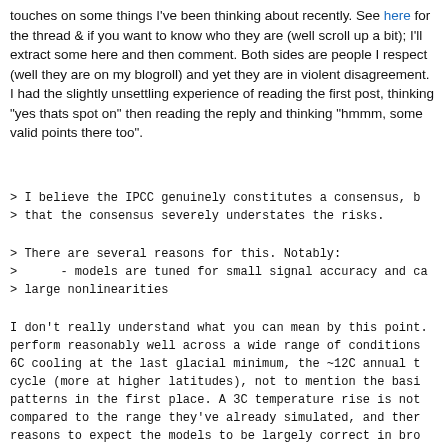touches on some things I've been thinking about recently. See here for the thread & if you want to know who they are (well scroll up a bit); I'll extract some here and then comment. Both sides are people I respect (well they are on my blogroll) and yet they are in violent disagreement. I had the slightly unsettling experience of reading the first post, thinking "yes thats spot on" then reading the reply and thinking "hmmm, some valid points there too".
> I believe the IPCC genuinely constitutes a consensus, b
> that the consensus severely understates the risks.
> There are several reasons for this. Notably:
>      - models are tuned for small signal accuracy and ca
> large nonlinearities
I don't really understand what you can mean by this point. perform reasonably well across a wide range of conditions 6C cooling at the last glacial minimum, the ~12C annual t cycle (more at higher latitudes), not to mention the basi patterns in the first place. A 3C temperature rise is not compared to the range they've already simulated, and ther reasons to expect the models to be largely correct in bro